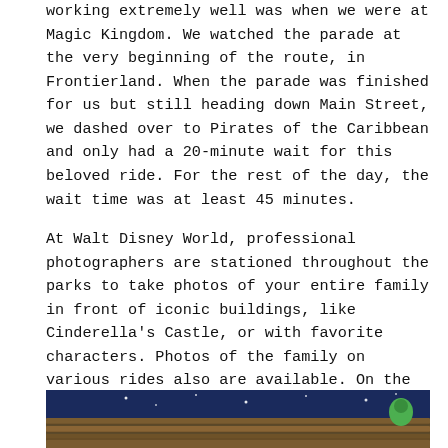working extremely well was when we were at Magic Kingdom. We watched the parade at the very beginning of the route, in Frontierland. When the parade was finished for us but still heading down Main Street, we dashed over to Pirates of the Caribbean and only had a 20-minute wait for this beloved ride. For the rest of the day, the wait time was at least 45 minutes.
At Walt Disney World, professional photographers are stationed throughout the parks to take photos of your entire family in front of iconic buildings, like Cinderella's Castle, or with favorite characters. Photos of the family on various rides also are available. On the app, you can preview, download, and share these photos. (Additional purchase is required.) Being able to see our photos almost immediately helped pass the time while waiting in line for rides.
[Figure (photo): Bottom portion of an image showing what appears to be a Disney attraction or ride scene with illustrated/animated style artwork featuring wooden planks in the foreground, a night sky with stars in the background, and a green character figure visible on the right side.]